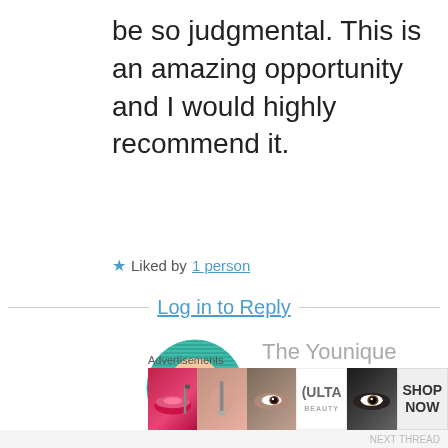be so judgmental. This is an amazing opportunity and I would highly recommend it.
★ Liked by 1 person
Log in to Reply
[Figure (illustration): Circular avatar icon with a cartoon woman with eyes showing above a green layered wrap covering the lower half of her face, on a teal/green striped circular background]
The Younique Foundation – Charity or Travesty? Let's look at the facts
Elle
Advertisements
[Figure (photo): Advertisement strip showing beauty/makeup images and ULTA logo with SHOP NOW button]